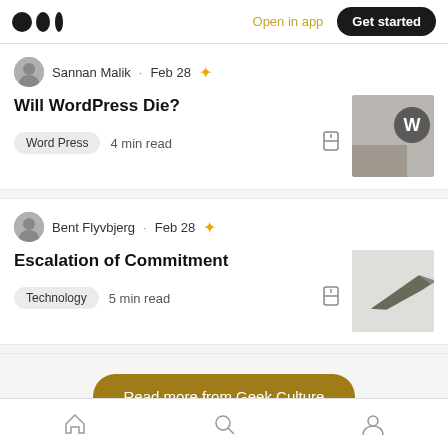Medium logo | Open in app | Get started
Sannan Malik · Feb 28 ★
Will WordPress Die?
Word Press   4 min read
Bent Flyvbjerg · Feb 28 ★
Escalation of Commitment
Technology   5 min read
Read more from Geek Culture
Home | Search | Profile